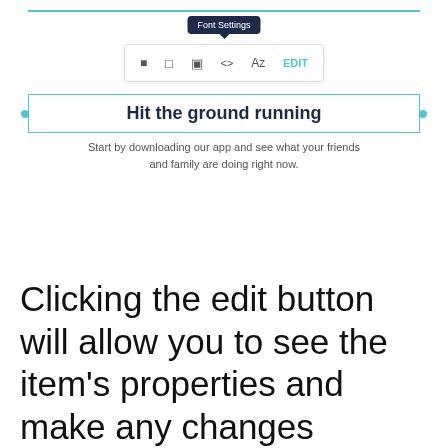[Figure (screenshot): UI screenshot showing a web editor with a 'Font Settings' tooltip above a toolbar with icons, and a preview showing a heading 'Hit the ground running' in a bordered editable box, with subtext below.]
Clicking the edit button will allow you to see the item's properties and make any changes beyond those that are available on the floating bar.